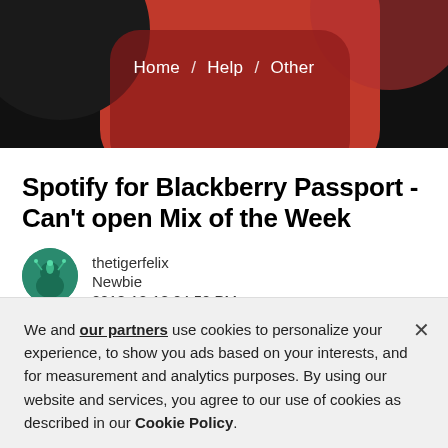Home / Help / Other
Spotify for Blackberry Passport - Can't open Mix of the Week
thetigerfelix
Newbie
2018-12-18 04:50 PM
Hello,
I'm using the Spotify App (Premium User) on my Blackberry Passport wich works great most of the Time. There's only one issue i'm not familiar with, how to open the "Mix of the...
We and our partners use cookies to personalize your experience, to show you ads based on your interests, and for measurement and analytics purposes. By using our website and services, you agree to our use of cookies as described in our Cookie Policy.